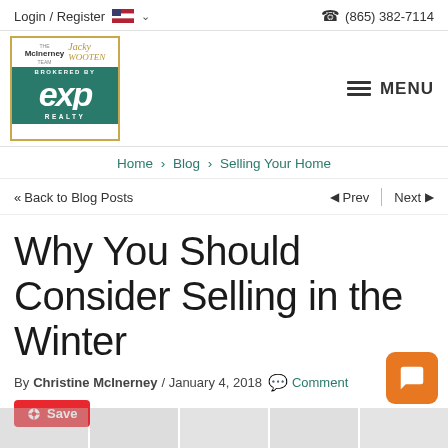Login / Register  (865) 382-7114
[Figure (logo): McInerney Wooten Team brokered by eXp Realty logo in teal and gold]
MENU
Home > Blog > Selling Your Home
<< Back to Blog Posts  Prev  Next
Why You Should Consider Selling in the Winter
By Christine McInerney / January 4, 2018  Comment
Save